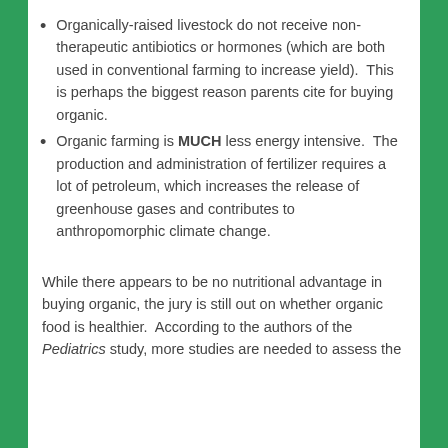Organically-raised livestock do not receive non-therapeutic antibiotics or hormones (which are both used in conventional farming to increase yield).  This is perhaps the biggest reason parents cite for buying organic.
Organic farming is MUCH less energy intensive.  The production and administration of fertilizer requires a lot of petroleum, which increases the release of greenhouse gases and contributes to anthropomorphic climate change.
While there appears to be no nutritional advantage in buying organic, the jury is still out on whether organic food is healthier.  According to the authors of the Pediatrics study, more studies are needed to assess the